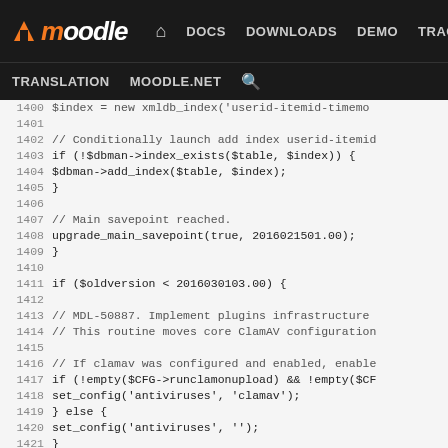moodle | DOCS DOWNLOADS DEMO TRACKER DEV | TRANSLATION MOODLE.NET [search]
[Figure (screenshot): Moodle developer documentation website header navigation bar with logo, nav links (DOCS, DOWNLOADS, DEMO, TRACKER, DEV highlighted in purple), and secondary nav (TRANSLATION, MOODLE.NET, search icon)]
Code block lines 1400-1426 showing PHP upgrade script for Moodle, including index creation, savepoint, and ClamAV antivirus configuration migration code